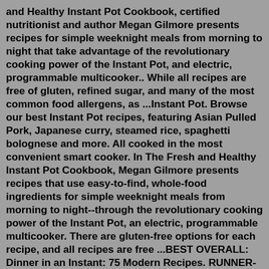and Healthy Instant Pot Cookbook, certified nutritionist and author Megan Gilmore presents recipes for simple weeknight meals from morning to night that take advantage of the revolutionary cooking power of the Instant Pot, and electric, programmable multicooker.. While all recipes are free of gluten, refined sugar, and many of the most common food allergens, as ...Instant Pot. Browse our best Instant Pot recipes, featuring Asian Pulled Pork, Japanese curry, steamed rice, spaghetti bolognese and more. All cooked in the most convenient smart cooker. In The Fresh and Healthy Instant Pot Cookbook, Megan Gilmore presents recipes that use easy-to-find, whole-food ingredients for simple weeknight meals from morning to night--through the revolutionary cooking power of the Instant Pot, an electric, programmable multicooker. There are gluten-free options for each recipe, and all recipes are free ...BEST OVERALL: Dinner in an Instant: 75 Modern Recipes. RUNNER-UP: The Ultimate Instant Pot cookbook. BEST BANG FOR THE BUCK: The